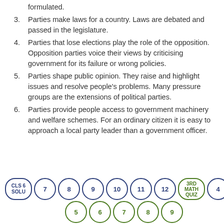formulated.
3. Parties make laws for a country. Laws are debated and passed in the legislature.
4. Parties that lose elections play the role of the opposition. Opposition parties voice their views by criticising government for its failure or wrong policies.
5. Parties shape public opinion. They raise and highlight issues and resolve people's problems. Many pressure groups are the extensions of political parties.
6. Parties provide people access to government machinery and welfare schemes. For an ordinary citizen it is easy to approach a local party leader than a government officer.
CLS 6 SOLU  7  8  9  10  11  12  3RD MATH QUIZ  4  5  6  7  8  9